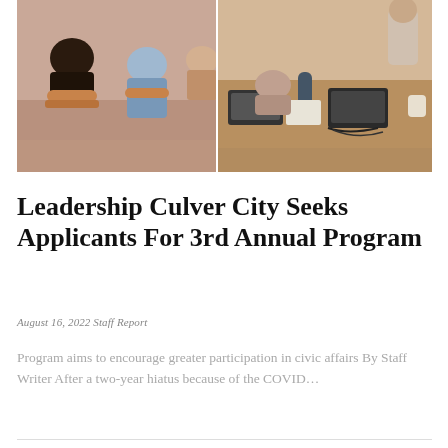[Figure (photo): Two side-by-side photos showing people in a meeting or workshop setting. Left photo shows attendees from behind seated in chairs. Right photo shows people seated around a table with laptops and water bottles.]
Leadership Culver City Seeks Applicants For 3rd Annual Program
August 16, 2022 Staff Report
Program aims to encourage greater participation in civic affairs By Staff Writer After a two-year hiatus because of the COVID...